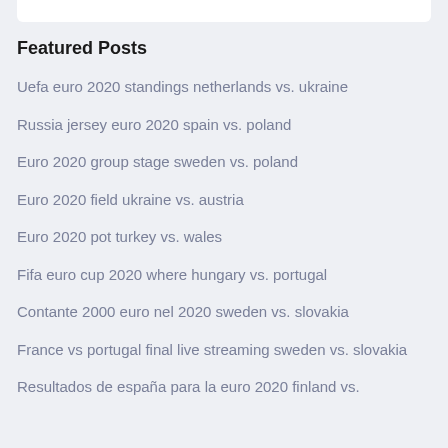Featured Posts
Uefa euro 2020 standings netherlands vs. ukraine
Russia jersey euro 2020 spain vs. poland
Euro 2020 group stage sweden vs. poland
Euro 2020 field ukraine vs. austria
Euro 2020 pot turkey vs. wales
Fifa euro cup 2020 where hungary vs. portugal
Contante 2000 euro nel 2020 sweden vs. slovakia
France vs portugal final live streaming sweden vs. slovakia
Resultados de españa para la euro 2020 finland vs.